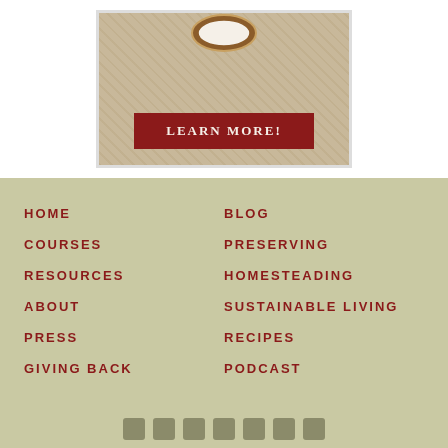[Figure (illustration): Advertisement banner with burlap/linen texture background showing a circular emblem at the top and a dark red 'LEARN MORE!' button]
HOME
COURSES
RESOURCES
ABOUT
PRESS
GIVING BACK
BLOG
PRESERVING
HOMESTEADING
SUSTAINABLE LIVING
RECIPES
PODCAST
[Figure (illustration): Row of social media icon buttons at the bottom of the footer]